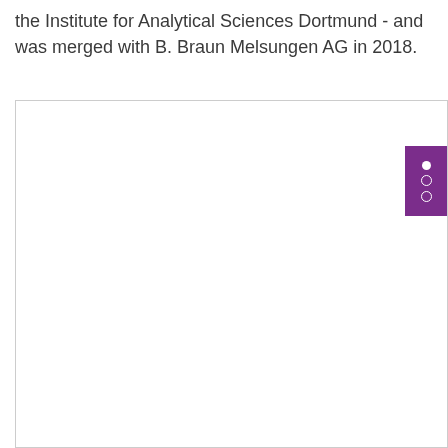the Institute for Analytical Sciences Dortmund - and was merged with B. Braun Melsungen AG in 2018.
[Figure (other): Large white rectangular image area with a light gray border, mostly blank. A purple navigation tab with three dots (one filled white, two outlined white) appears on the right edge of the image box.]